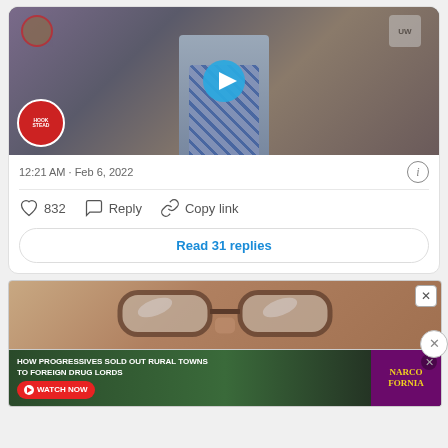[Figure (screenshot): Video thumbnail showing a person in a plaid shirt with a play button overlay. Hookstead logo visible in bottom left corner.]
12:21 AM · Feb 6, 2022
832  Reply  Copy link
Read 31 replies
[Figure (photo): Advertisement showing close-up of glasses frames above a Narcofornia ad with text: HOW PROGRESSIVES SOLD OUT RURAL TOWNS TO FOREIGN DRUG LORDS. WATCH NOW button visible.]